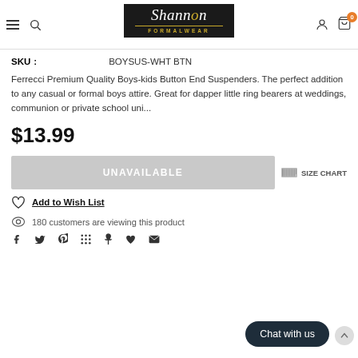[Figure (logo): Shannon Formalwear logo — dark background with white italic serif text and gold 'FORMALWEAR' subtitle]
SKU: BOYSUS-WHT BTN
Ferrecci Premium Quality Boys-kids Button End Suspenders. The perfect addition to any casual or formal boys attire. Great for dapper little ring bearers at weddings, communion or private school uni...
$13.99
UNAVAILABLE
SIZE CHART
Add to Wish List
180 customers are viewing this product
Chat with us